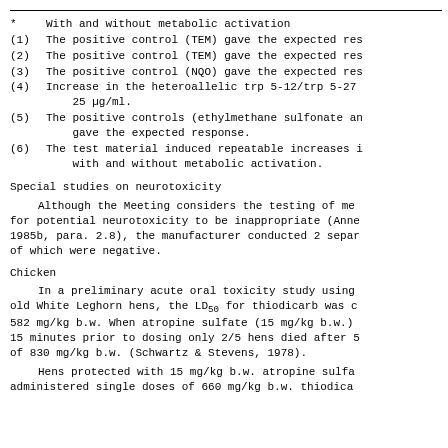*    With and without metabolic activation
(1)  The positive control (TEM) gave the expected res
(2)  The positive control (TEM) gave the expected res
(3)  The positive control (NQO) gave the expected res
(4)  Increase in the heteroallelic trp 5-12/trp 5-27 ... 25 µg/ml.
(5)  The positive controls (ethylmethane sulfonate an gave the expected response.
(6)  The test material induced repeatable increases i with and without metabolic activation.
Special studies on neurotoxicity
Although the Meeting considers the testing of me for potential neurotoxicity to be inappropriate (Anne 1985b, para. 2.8), the manufacturer conducted 2 separ of which were negative.
Chicken
In a preliminary acute oral toxicity study using old White Leghorn hens, the LD50 for thiodicarb was c 582 mg/kg b.w. When atropine sulfate (15 mg/kg b.w.) 15 minutes prior to dosing only 2/5 hens died after 5 of 830 mg/kg b.w. (Schwartz & Stevens, 1978).
Hens protected with 15 mg/kg b.w. atropine sulfa administered single doses of 660 mg/kg b.w. thiodica